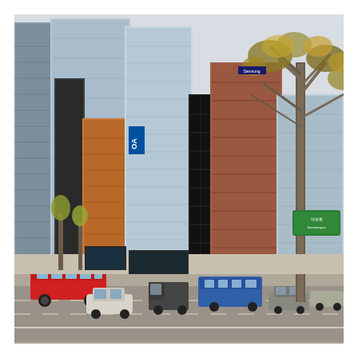[Figure (photo): Street-level photograph of a busy urban commercial district in Seoul, South Korea. Multiple high-rise office and retail buildings with glass facades line a wide multi-lane road. Red city buses, cars, and a small truck are visible in traffic. A large leafless tree with some autumn foliage is prominent on the right side. Korean language signage and a green highway direction sign are visible in the background. The scene appears to be taken on a clear autumn day.]